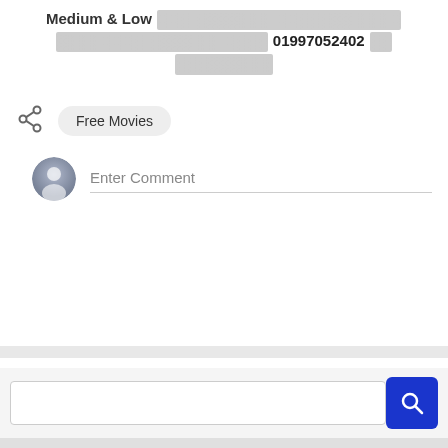Medium & Low [redacted text] 01997052402 [redacted text]
Free Movies
Enter Comment
[Figure (screenshot): Search bar with blue search button at bottom of page]